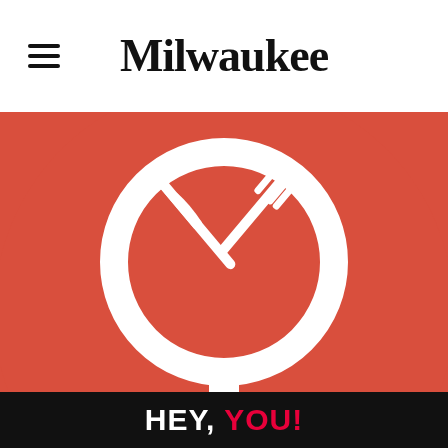Milwaukee
[Figure (illustration): Red circular restaurant/dining icon with a magnifying glass shape containing crossed knife and fork on a red background]
This website uses cookies to improve your experience. We'll assume you're ok with this, but you can opt-out if you wish. Cookie
HEY, YOU!